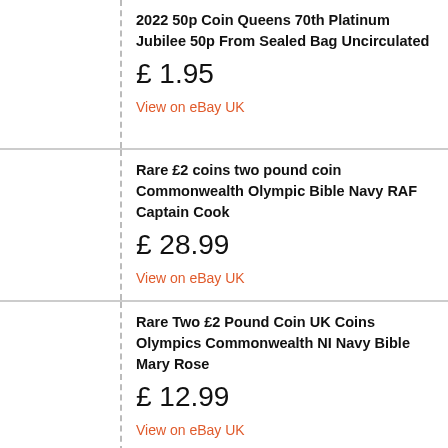2022 50p Coin Queens 70th Platinum Jubilee 50p From Sealed Bag Uncirculated
£ 1.95
View on eBay UK
Rare £2 coins two pound coin Commonwealth Olympic Bible Navy RAF Captain Cook
£ 28.99
View on eBay UK
Rare Two £2 Pound Coin UK Coins Olympics Commonwealth NI Navy Bible Mary Rose
£ 12.99
View on eBay UK